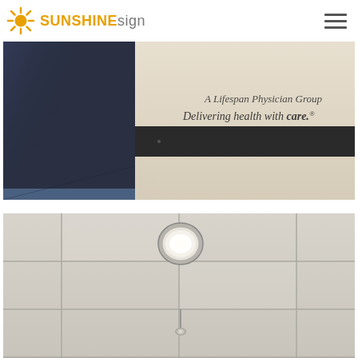SUNSHINEsign
[Figure (photo): Interior hallway wall with dark panel stripe and text reading 'A Lifespan Physician Group - Delivering health with care.' on a cream/beige wall, partially obscured, with a dark navy feature wall on the left side]
[Figure (photo): Ceiling view of a drop ceiling with white acoustic tiles and rectangular grid, featuring a circular recessed light fixture and a small pendant light below it]